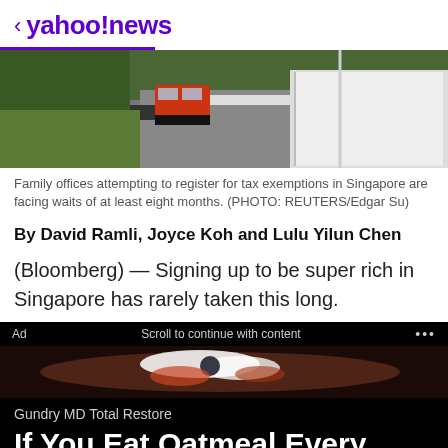< yahoo!news
[Figure (photo): Aerial photo of a red bus on a road in Singapore with white architectural structures visible]
Family offices attempting to register for tax exemptions in Singapore are facing waits of at least eight months. (PHOTO: REUTERS/Edgar Su)
By David Ramli, Joyce Koh and Lulu Yilun Chen
(Bloomberg) — Signing up to be super rich in Singapore has rarely taken this long.
[Figure (photo): Ad image showing close-up of food (oatmeal with berries) on dark background]
Gundry MD Total Restore
If You Eat Oatmeal Every Day, This Is What